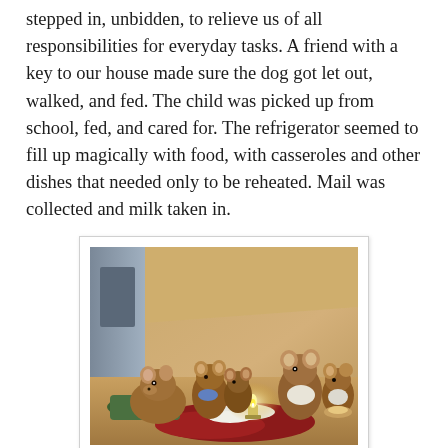stepped in, unbidden, to relieve us of all responsibilities for everyday tasks. A friend with a key to our house made sure the dog got let out, walked, and fed. The child was picked up from school, fed, and cared for. The refrigerator seemed to fill up magically with food, with casseroles and other dishes that needed only to be reheated. Mail was collected and milk taken in.
[Figure (illustration): A Beatrix Potter-style illustration showing several mice gathered together indoors, with warm wooden tones. The mice appear to be sewing or working on fabric by candlelight. A lit candle sits on the floor amid colorful cloth. The scene evokes the story of The Tailor of Gloucester.]
Coming home after each exhausting marathon of anxiety and despair in that time was like starring in a production of "The Tailor of Gloucester," in which the desperately poor and worried tailor, sick and feverish, takes to his bed knowing that he will never be